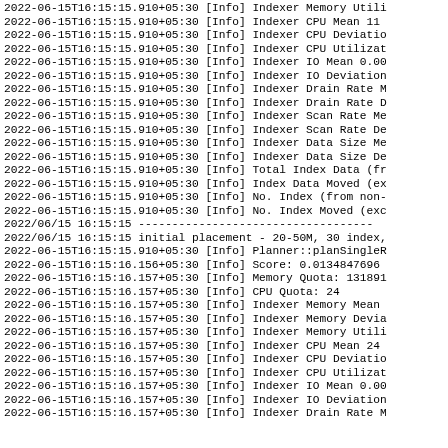Log output showing Indexer metrics and planner initialization events from 2022-06-15T16:15:15 to 2022-06-15T16:15:16, including Memory, CPU, IO, Drain Rate, Scan Rate, Data Size statistics and planning events.